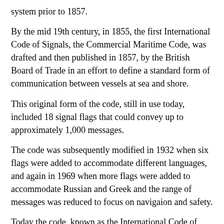system prior to 1857.
By the mid 19th century, in 1855, the first International Code of Signals, the Commercial Maritime Code, was drafted and then published in 1857, by the British Board of Trade in an effort to define a standard form of communication between vessels at sea and shore.
This original form of the code, still in use today, included 18 signal flags that could convey up to approximately 1,000 messages.
The code was subsequently modified in 1932 when six flags were added to accommodate different languages, and again in 1969 when more flags were added to accommodate Russian and Greek and the range of messages was reduced to focus on navigaion and safety.
Today the code, known as the International Code of Signals (ICS), is made up of 40 flags.
Naval ships generally do not use the ICS to communicate but rather their own navy's, or group's (e.g. NATO) code using the same set of flags. The first flag hoisted (a designator flag) indicates whether the signal should be interpreted as an ICS or naval signal.
One of the most interesting aspects of the ICS is that all of the